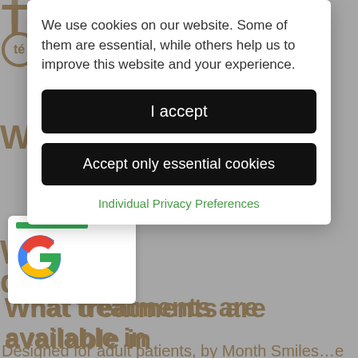[Figure (screenshot): Cookie consent modal overlay on a dental/orthodontic website. Modal contains cookie usage text, 'I accept' button, 'Accept only essential cookies' button, and 'Individual Privacy Preferences' link. Background shows partially visible page content about orthodontic treatment plans with orange/gold headings and gray body text. A Google widget appears in the lower left corner.]
We use cookies on our website. Some of them are essential, while others help us to improve this website and your experience.
I accept
Accept only essential cookies
Individual Privacy Preferences
personalised orthodontic treatment plans designed to improve your teeth. By tailoring the treatment for you, we can correct misaligned teeth, improve spacing and straighten teeth. With an average treatment time of around six months, you can expect optimised oral health and an increase in confidence in your smile.
What treatments are available in